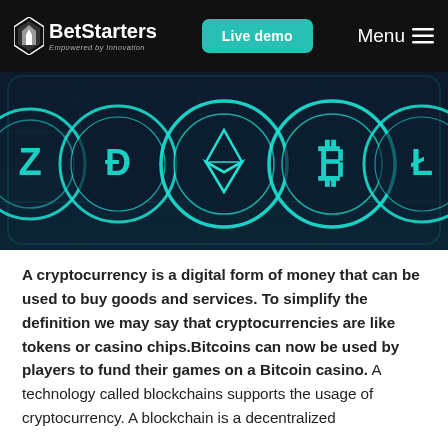BetStarters — Empowered by Innovation | Live demo | Menu
[Figure (illustration): Dark-themed banner showing glowing teal cryptocurrency coin icons (Dash, Ethereum, Bitcoin, Litecoin, and others) arranged in a row on a dark navy background with circuit-board lines.]
A cryptocurrency is a digital form of money that can be used to buy goods and services. To simplify the definition we may say that cryptocurrencies are like tokens or casino chips.Bitcoins can now be used by players to fund their games on a Bitcoin casino. A technology called blockchains supports the usage of cryptocurrency. A blockchain is a decentralized